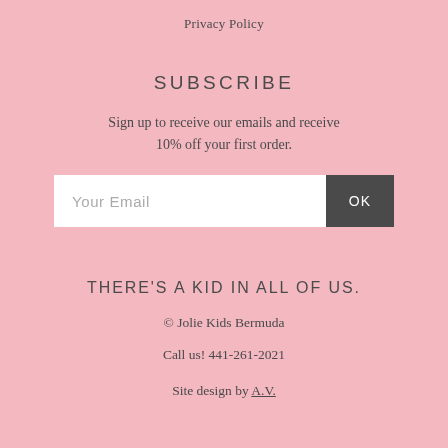Privacy Policy
SUBSCRIBE
Sign up to receive our emails and receive 10% off your first order.
Your Email  OK
THERE'S A KID IN ALL OF US.
© Jolie Kids Bermuda
Call us! 441-261-2021
Site design by A.V.